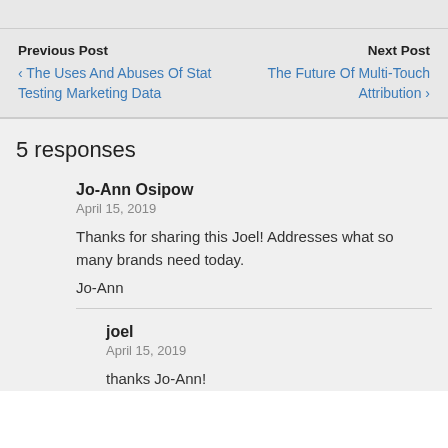Previous Post
‹ The Uses And Abuses Of Stat Testing Marketing Data
Next Post
The Future Of Multi-Touch Attribution ›
5 responses
Jo-Ann Osipow
April 15, 2019
Thanks for sharing this Joel! Addresses what so many brands need today.
Jo-Ann
joel
April 15, 2019
thanks Jo-Ann!